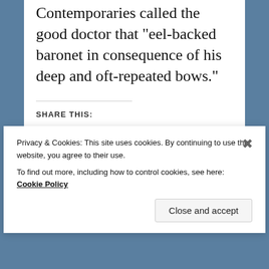Contemporaries called the good doctor that “eel-backed baronet in consequence of his deep and oft-repeated bows.”
SHARE THIS:
Facebook  Twitter  Reddit  Pinterest  Tumblr  LinkedIn  More
Privacy & Cookies: This site uses cookies. By continuing to use this website, you agree to their use. To find out more, including how to control cookies, see here: Cookie Policy